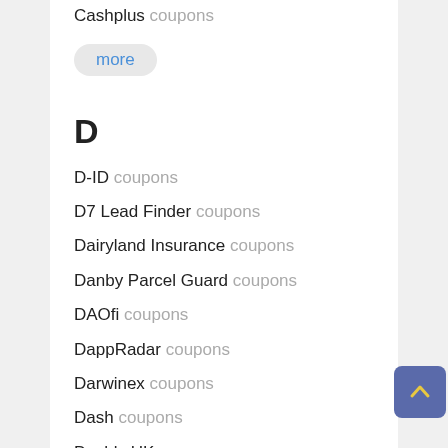Cashplus coupons
more
D
D-ID coupons
D7 Lead Finder coupons
Dairyland Insurance coupons
Danby Parcel Guard coupons
DAOfi coupons
DappRadar coupons
Darwinex coupons
Dash coupons
Dashly UK coupons
Data Stocks coupons
Dave coupons
Day Runner coupons